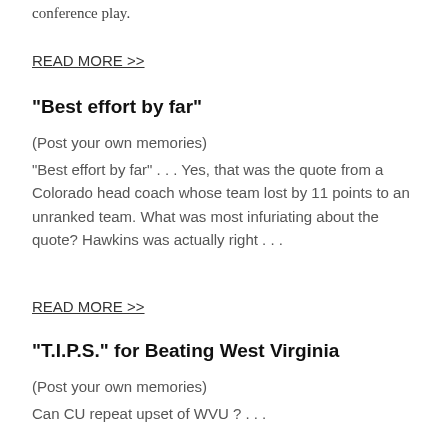conference play.
READ MORE >>
“Best effort by far”
(Post your own memories)
“Best effort by far” . . . Yes, that was the quote from a Colorado head coach whose team lost by 11 points to an unranked team. What was most infuriating about the quote? Hawkins was actually right . . .
READ MORE >>
“T.I.P.S.” for Beating West Virginia
(Post your own memories)
Can CU repeat upset of WVU ? . . .
READ MORE >>